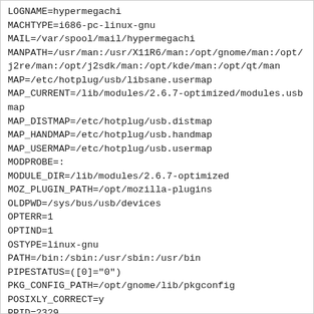LOGNAME=hypermegachi
MACHTYPE=i686-pc-linux-gnu
MAIL=/var/spool/mail/hypermegachi
MANPATH=/usr/man:/usr/X11R6/man:/opt/gnome/man:/opt/j2re/man:/opt/j2sdk/man:/opt/kde/man:/opt/qt/man
MAP=/etc/hotplug/usb/libsane.usermap
MAP_CURRENT=/lib/modules/2.6.7-optimized/modules.usbmap
MAP_DISTMAP=/etc/hotplug/usb.distmap
MAP_HANDMAP=/etc/hotplug/usb.handmap
MAP_USERMAP=/etc/hotplug/usb.usermap
MODPROBE=:
MODULE_DIR=/lib/modules/2.6.7-optimized
MOZ_PLUGIN_PATH=/opt/mozilla-plugins
OLDPWD=/sys/bus/usb/devices
OPTERR=1
OPTIND=1
OSTYPE=linux-gnu
PATH=/bin:/sbin:/usr/sbin:/usr/bin
PIPESTATUS=([0]="0")
PKG_CONFIG_PATH=/opt/gnome/lib/pkgconfig
POSIXLY_CORRECT=y
PPID=2329
PRODUCT=046d/c501/0910
PS4='+ '